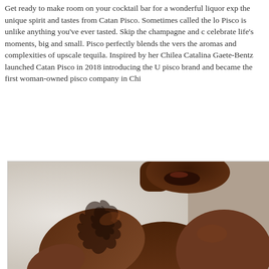Get ready to make room on your cocktail bar for a wonderful liquor exp the unique spirit and tastes from Catan Pisco. Sometimes called the lo Pisco is unlike anything you've ever tasted. Skip the champagne and c celebrate life's moments, big and small. Pisco perfectly blends the vers the aromas and complexities of upscale tequila. Inspired by her Chilea Catalina Gaete-Bentz launched Catan Pisco in 2018 introducing the U pisco brand and became the first woman-owned pisco company in Chi
[Figure (photo): A shirtless Black man with a large flame or bird tattoo on his left shoulder and chest, photographed against a light grey/white background. The image is cropped showing his torso, upper chest, and lower face with a mustache and beard.]